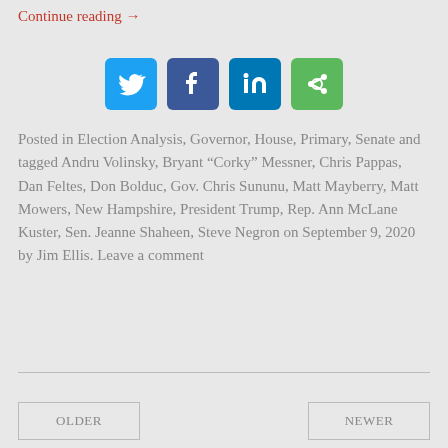Continue reading →
[Figure (other): Social media share icons: Twitter, Facebook, LinkedIn, and a share button]
Posted in Election Analysis, Governor, House, Primary, Senate and tagged Andru Volinsky, Bryant “Corky” Messner, Chris Pappas, Dan Feltes, Don Bolduc, Gov. Chris Sununu, Matt Mayberry, Matt Mowers, New Hampshire, President Trump, Rep. Ann McLane Kuster, Sen. Jeanne Shaheen, Steve Negron on September 9, 2020 by Jim Ellis. Leave a comment